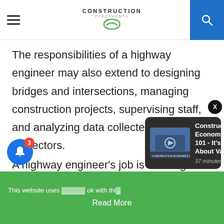Construction Placements
The responsibilities of a highway engineer may also extend to designing bridges and intersections, managing construction projects, supervising staff, and analyzing data collected by field inspectors.
A highway engineer's job is to design and oversee the construction of roads, bridges
[Figure (screenshot): Notification popup showing 'Construction Economics 101 - It's All About Value' article with thumbnail, 37 minutes ago]
This website uses cookies. ok with this. Read More